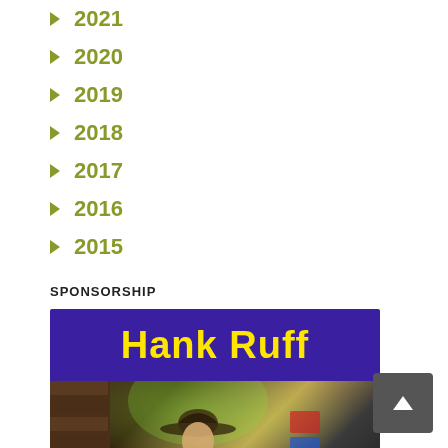2021
2020
2019
2018
2017
2016
2015
SPONSORSHIP
[Figure (illustration): Sponsorship banner for Hank Ruff: purple background with yellow bold text 'Hank Ruff' on top, and a photo of a young man in a cowboy hat lit by a green spotlight in a bar/venue setting below.]